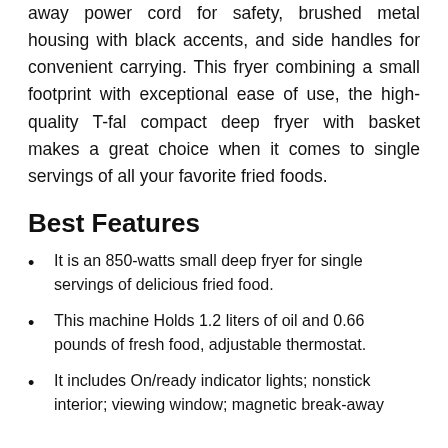away power cord for safety, brushed metal housing with black accents, and side handles for convenient carrying. This fryer combining a small footprint with exceptional ease of use, the high-quality T-fal compact deep fryer with basket makes a great choice when it comes to single servings of all your favorite fried foods.
Best Features
It is an 850-watts small deep fryer for single servings of delicious fried food.
This machine Holds 1.2 liters of oil and 0.66 pounds of fresh food, adjustable thermostat.
It includes On/ready indicator lights; nonstick interior; viewing window; magnetic break-away